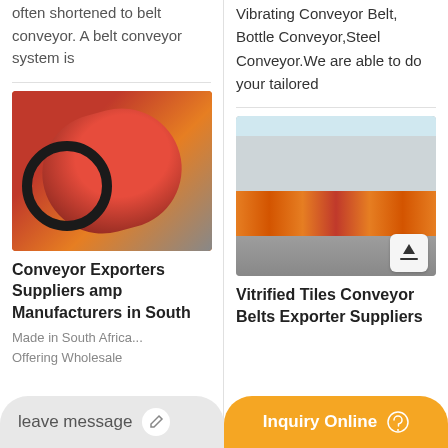often shortened to belt conveyor. A belt conveyor system is
[Figure (photo): Close-up photo of an orange industrial conveyor belt/roller with black belt wrapping around it]
Conveyor Exporters Suppliers amp Manufacturers in South
Made in South Africa... Offering Wholesale
Vibrating Conveyor Belt, Bottle Conveyor,Steel Conveyor.We are able to do your tailored
[Figure (photo): Photo of a factory building with a row of orange industrial machines (possibly cement mixers or conveyor equipment) lined up in front, with flags in the background]
Vitrified Tiles Conveyor Belts Exporter Suppliers
leave message
Inquiry Online